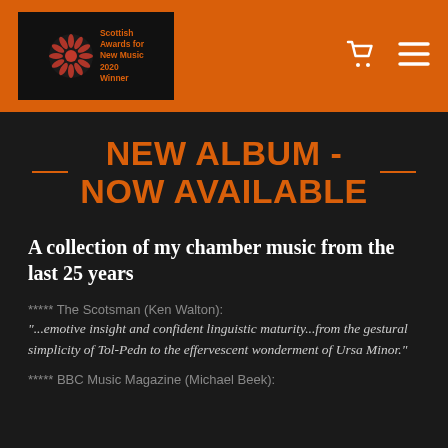Scottish Awards for New Music 2020 Winner [logo] [cart icon] [menu icon]
NEW ALBUM - NOW AVAILABLE
A collection of my chamber music from the last 25 years
***** The Scotsman (Ken Walton): "...emotive insight and confident linguistic maturity...from the gestural simplicity of Tol-Pedn to the effervescent wonderment of Ursa Minor."
***** BBC Music Magazine (Michael Beek):